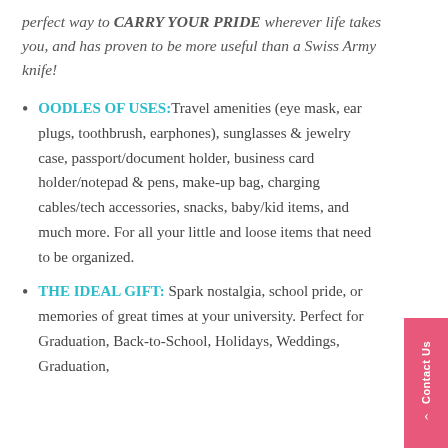perfect way to CARRY YOUR PRIDE wherever life takes you, and has proven to be more useful than a Swiss Army knife!
OODLES OF USES: Travel amenities (eye mask, ear plugs, toothbrush, earphones), sunglasses & jewelry case, passport/document holder, business card holder/notepad & pens, make-up bag, charging cables/tech accessories, snacks, baby/kid items, and much more. For all your little and loose items that need to be organized.
THE IDEAL GIFT: Spark nostalgia, school pride, or memories of great times at your university. Perfect for Graduation, Back-to-School, Holidays, Weddings, Graduation,